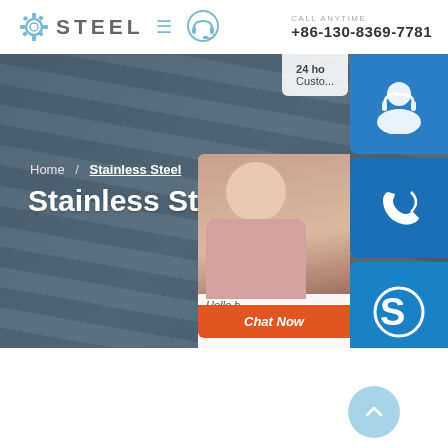STEEL | CALL ANYTIME +86-130-8369-7781
[Figure (screenshot): Steel company website screenshot with hero banner showing 'Stainless Steel' page, navigation header with logo, phone number, and sidebar chat widgets]
Home / Stainless Steel
Stainless Steel
24 ho... Customer...
Hello, h... hel...
Chat Now